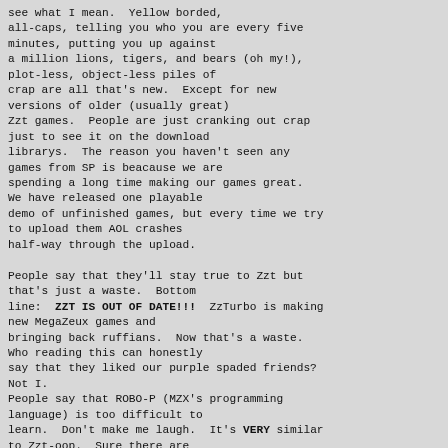see what I mean.  Yellow borded,
all-caps, telling you who you are every five
minutes, putting you up against
a million lions, tigers, and bears (oh my!),
plot-less, object-less piles of
crap are all that's new.  Except for new
versions of older (usually great)
Zzt games.  People are just cranking out crap
just to see it on the download
librarys.  The reason you haven't seen any
games from SP is beacause we are
spending a long time making our games great.
We have released one playable
demo of unfinished games, but every time we try
to upload them AOL crashes
half-way through the upload.

People say that they'll stay true to Zzt but
that's just a waste.  Bottom
line:  ZZT IS OUT OF DATE!!!  ZzTurbo is making
new MegaZeux games and
bringing back ruffians.  Now that's a waste.
Who reading this can honestly
say that they liked our purple spaded friends?
Not I.
People say that ROBO-P (MZX's programming
language) is too difficult to
learn.  Don't make me laugh.  It's VERY similar
to Zzt-oop.  Sure there are
a few more commands, but if you can learn ZZT
you can learn MZX.  It's that
simple.